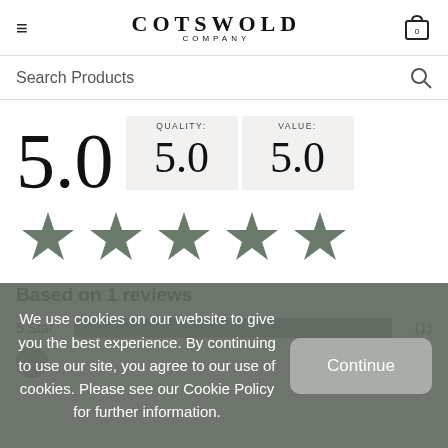COTSWOLD COMPANY
Search Products
QUALITY: 5.0   VALUE: 5.0
5.0
[Figure (other): 5 filled star icons representing a 5-star rating]
Based on 1 reviews
5 Star (1)
We use cookies on our website to give you the best experience. By continuing to use our site, you agree to our use of cookies. Please see our Cookie Policy for further information.